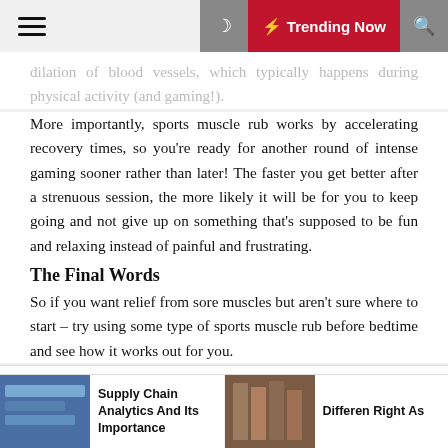☰  🌙  ⚡ Trending Now  🔍
...dilation of blood vessels, which typically happens during physical activity (and gaming!).
More importantly, sports muscle rub works by accelerating recovery times, so you're ready for another round of intense gaming sooner rather than later! The faster you get better after a strenuous session, the more likely it will be for you to keep going and not give up on something that's supposed to be fun and relaxing instead of painful and frustrating.
The Final Words
So if you want relief from sore muscles but aren't sure where to start – try using some type of sports muscle rub before bedtime and see how it works out for you.
📅  Posted in  Health
Supply Chain Analytics And Its Importance
Differen Right As